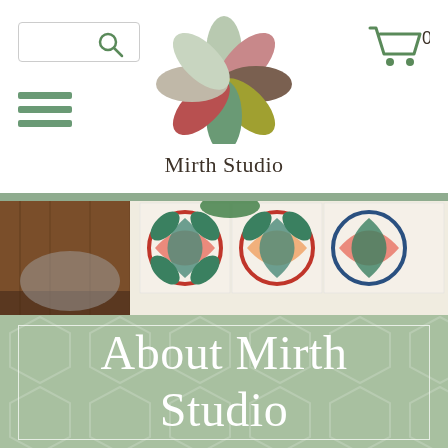[Figure (logo): Mirth Studio logo: a stylized flower made of overlapping leaf petals in muted colors (sage green, pale green, dusty rose/red, brown, olive/yellow-green, gray-beige) arranged radially, with the text 'Mirth Studio' below in dark brown serif font]
[Figure (screenshot): Website header UI showing a search box with magnifying glass icon on the left, the Mirth Studio flower logo centered, a hamburger menu icon (three horizontal green lines) below and left, and a shopping cart icon with '0' on the right]
[Figure (photo): Colorful decorative cement tiles with floral patterns in red, orange, teal, green and navy on a white background, partially overlapping dark wood surfaces]
About Mirth Studio